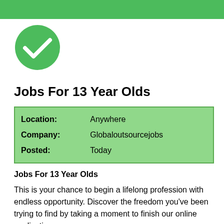[Figure (illustration): Green horizontal banner bar at top of page]
[Figure (illustration): Green circle with white checkmark icon]
Jobs For 13 Year Olds
| Location: | Anywhere |
| Company: | Globaloutsourcejobs |
| Posted: | Today |
Jobs For 13 Year Olds
This is your chance to begin a lifelong profession with endless opportunity. Discover the freedom you've been trying to find by taking a moment to finish our online application.